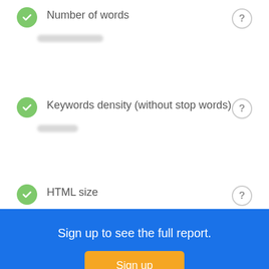Number of words
Keywords density (without stop words)
HTML size
Sign up to see the full report.
Sign up
Internal Links